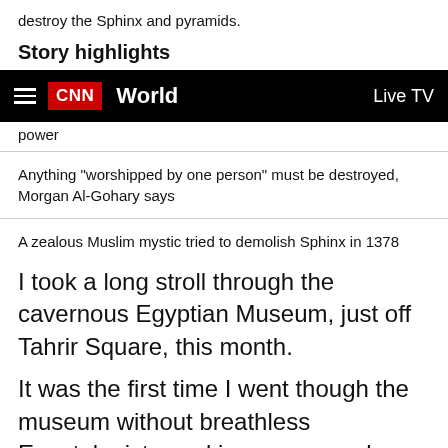destroy the Sphinx and pyramids.
Story highlights
[Figure (screenshot): CNN navigation bar with hamburger menu, CNN logo in red, World section label, and Live TV link on black background]
power
Anything "worshipped by one person" must be destroyed, Morgan Al-Gohary says
A zealous Muslim mystic tried to demolish Sphinx in 1378
I took a long stroll through the cavernous Egyptian Museum, just off Tahrir Square, this month.
It was the first time I went though the museum without breathless Egyptologists yanking me around, impatient children or a looming deadline.